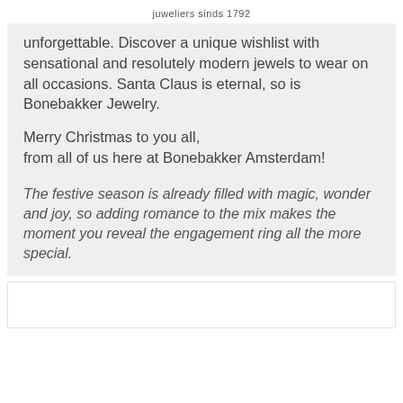juweliers sinds 1792
unforgettable. Discover a unique wishlist with sensational and resolutely modern jewels to wear on all occasions. Santa Claus is eternal, so is Bonebakker Jewelry.
Merry Christmas to you all,
from all of us here at Bonebakker Amsterdam!
The festive season is already filled with magic, wonder and joy, so adding romance to the mix makes the moment you reveal the engagement ring all the more special.